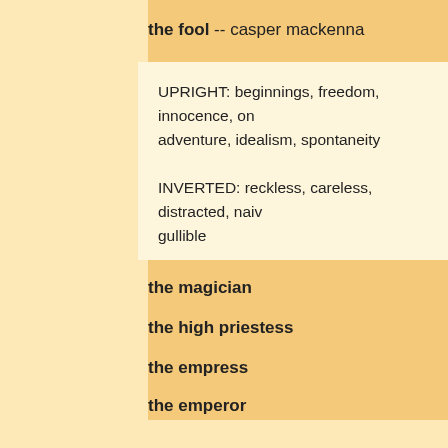the fool -- casper mackenna
UPRIGHT: beginnings, freedom, innocence, on adventure, idealism, spontaneity

INVERTED: reckless, careless, distracted, naive gullible
the magician
the high priestess
the empress
the emperor
the hierophant -- delphi xiang